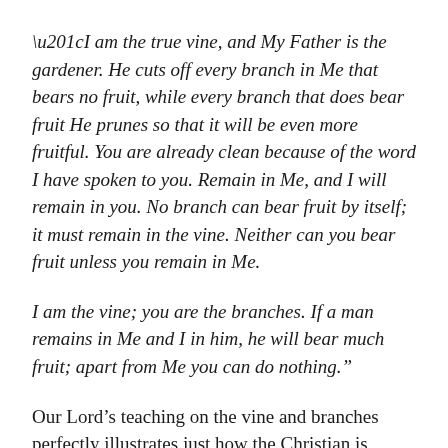“I am the true vine, and My Father is the gardener. He cuts off every branch in Me that bears no fruit, while every branch that does bear fruit He prunes so that it will be even more fruitful. You are already clean because of the word I have spoken to you. Remain in Me, and I will remain in you. No branch can bear fruit by itself; it must remain in the vine. Neither can you bear fruit unless you remain in Me.
I am the vine; you are the branches. If a man remains in Me and I in him, he will bear much fruit; apart from Me you can do nothing.”
Our Lord’s teaching on the vine and branches perfectly illustrates just how the Christian is connected to Christ. It is organic, not mechanical. It is a living, vital union, where the believer (the branch) has been grafted into the vine (the Lord) and finds nourishment from and through him to grow.